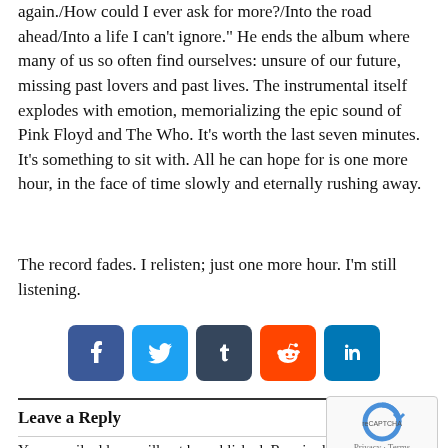again./How could I ever ask for more?/Into the road ahead/Into a life I can't ignore." He ends the album where many of us so often find ourselves: unsure of our future, missing past lovers and past lives. The instrumental itself explodes with emotion, memorializing the epic sound of Pink Floyd and The Who. It's worth the last seven minutes. It's something to sit with. All he can hope for is one more hour, in the face of time slowly and eternally rushing away.
The record fades. I relisten; just one more hour. I'm still listening.
[Figure (infographic): Social media sharing icons: Facebook, Twitter, Tumblr, Reddit, LinkedIn]
Leave a Reply
Your email address will not be published. Required